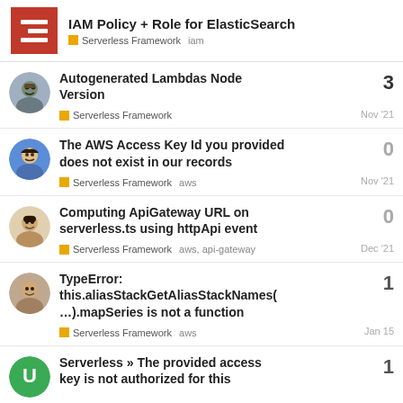IAM Policy + Role for ElasticSearch | Serverless Framework  iam
Autogenerated Lambdas Node Version | Serverless Framework | Nov '21 | 3 replies
The AWS Access Key Id you provided does not exist in our records | Serverless Framework  aws | Nov '21 | 0 replies
Computing ApiGateway URL on serverless.ts using httpApi event | Serverless Framework  aws, api-gateway | Dec '21 | 0 replies
TypeError: this.aliasStackGetAliasStackNames(...).mapSeries is not a function | Serverless Framework  aws | Jan 15 | 1 reply
Serverless » The provided access key is not authorized for this… | 1 reply